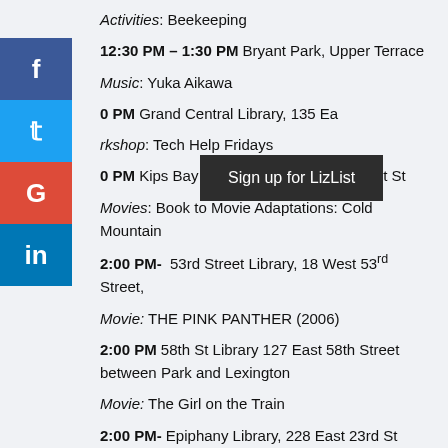Activities: Beekeeping
12:30 PM – 1:30 PM Bryant Park, Upper Terrace
Music: Yuka Aikawa
PM Grand Central Library, 135 Ea...
kshop: Tech Help Fridays
0 PM Kips Bay Library, 446 3rd Ave @ 31st St
Movies: Book to Movie Adaptations: Cold Mountain
2:00 PM- 53rd Street Library, 18 West 53rd Street,
Movie: THE PINK PANTHER (2006)
2:00 PM 58th St Library 127 East 58th Street between Park and Lexington
Movie: The Girl on the Train
2:00 PM- Epiphany Library, 228 East 23rd St between 2nd and 3rd